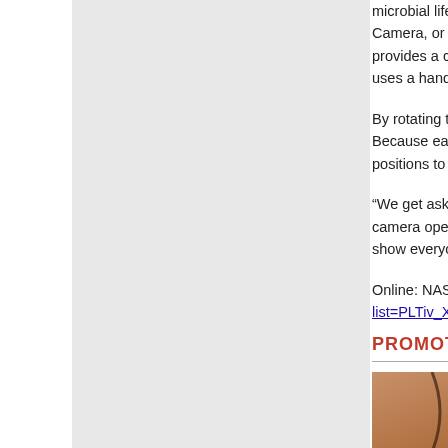[Figure (photo): Large gray placeholder image on the left side of the page, likely a Mars rover or related science image]
microbial life billions of yea... Camera, or MAHLI, located... provides a close-up view o... uses a handheld magnifying...
By rotating the turret to fac... Because each MAHLI imag... positions to fully capture th...
“We get asked so often how... camera operator at JPL. “W... show everyone from its ow...
Online: NASA video shows... list=PLTiv_XWHnOZpzQKY...
PROMOTED CONTE...
[Figure (photo): Partial photo of a person or animal with brown hair, partially visible at bottom right]